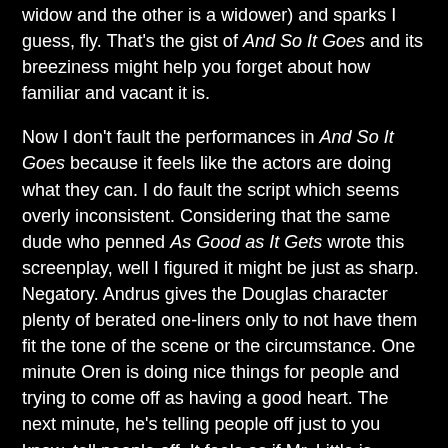widow and the other is a widower) and sparks I guess, fly. That's the gist of And So It Goes and its breeziness might help you forget about how familiar and vacant it is.
Now I don't fault the performances in And So It Goes because it feels like the actors are doing what they can. I do fault the script which seems overly inconsistent. Considering that the same dude who penned As Good as It Gets wrote this screenplay, well I figured it might be just as sharp. Negatory. Andrus gives the Douglas character plenty of berated one-liners only to not have them fit the tone of the scene or the circumstance. One minute Oren is doing nice things for people and trying to come off as having a good heart. The next minute, he's telling people off just to you know, tell people off. It feels as if Mr. Little is spewing insults just for the heck of it. I mean, it's like he's reading them from cue cards or having someone whisper them in his ear right before the cameras start to roll. When he tells a co-worker at his real estate firm, "and you'll get hit by a bus if the driver does what he's paid to do", it just feels like filler. When Jack Nicholson told off his co-stars in his 1997 Oscar nominated flick, it actually felt genuine and earned. Here not so much. Again, I don't fault Douglas. I fault Andrus for not connecting the dots this time around. Then, there's the seemingly affin to t…